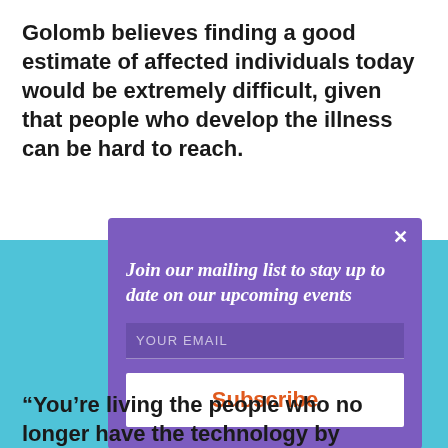Golomb believes finding a good estimate of affected individuals today would be extremely difficult, given that people who develop the illness can be hard to reach.
[Figure (other): A popup modal overlay with purple gradient background, close button (×), title text 'Join our mailing list to stay up to date on our upcoming events', an email input field with placeholder 'YOUR EMAIL', and a white Subscribe button with orange text. A small icon appears at the bottom of the popup.]
“You’re living the people who no longer have the technology by